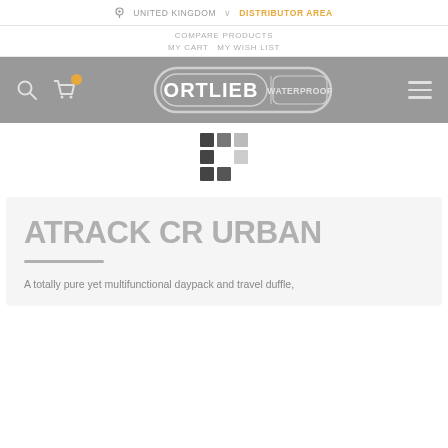UNITED KINGDOM  DISTRIBUTOR AREA
COMPARE PRODUCTS  MY CART  MY WISH LIST
[Figure (logo): Ortlieb Waterproof logo on grey navigation bar with search icon, cart icon, and hamburger menu]
[Figure (infographic): 3x3 grid of color swatches in dark, medium, and light grey]
ATRACK CR URBAN
A totally pure yet multifunctional daypack and travel duffle,